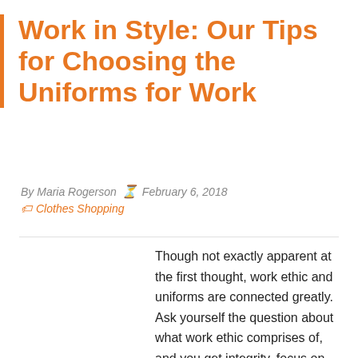Work in Style: Our Tips for Choosing the Uniforms for Work
By Maria Rogerson ⏳ February 6, 2018
🏷 Clothes Shopping
Though not exactly apparent at the first thought, work ethic and uniforms are connected greatly. Ask yourself the question about what work ethic comprises of, and you get integrity, focus on quality of work, a sense of teamwork, and discipline – the exact aspects the uniform provides. More than mere clothing, uniforms for work